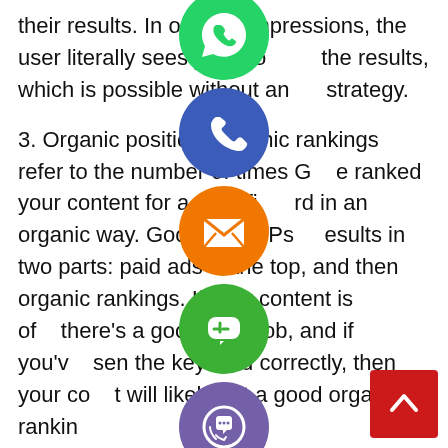their results. In organic impressions, the user literally sees your content in the results, which is possible without any SEO strategy.
3. Organic positioning: organic rankings refer to the number of times Google ranked your content for a specific keyword in an organic way. Google SERPs display results in two parts: paid ads at the top, and then organic rankings. If your content is of quality, there's a good SEO job, and if you've chosen the keyword correctly, then your content will likely get a good organic ranking.
4. Back links The more back links your website has (that are of quality and from different domains), the better its chances of ranking in
[Figure (illustration): Stack of social media / contact app icons overlaid on the text: WhatsApp (green), Phone/Call (blue), Email (orange), LINE (green), Viber (purple), Close/X (green). A red scroll-to-top button appears bottom right.]